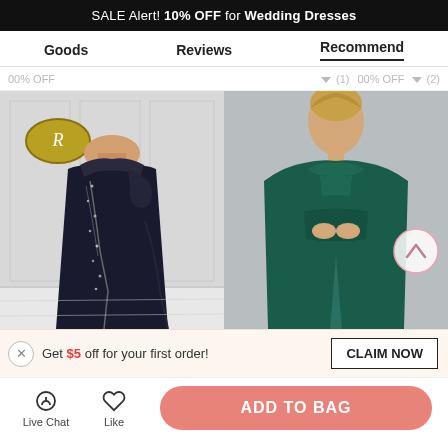SALE Alert! 10% OFF for Wedding Dresses
Goods   Reviews   Recommend
00% OFF   (1) 00% OFF   (2)
[Figure (photo): Black off-shoulder beaded formal gown on a mannequin in a boutique setting]
[Figure (photo): Woman in teal/dark green off-shoulder ruched slit formal gown]
Get $5 off for your first order!   CLAIM NOW
Live Chat   Like   ADD TO BAG